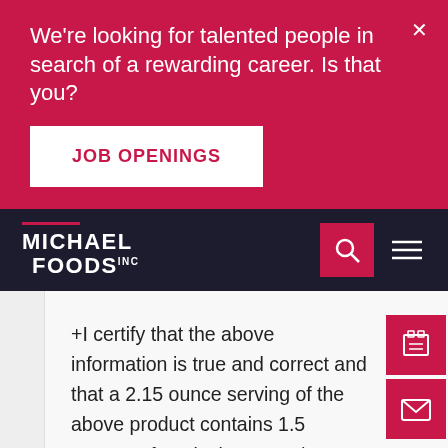We're looking for talented people in search of a rewarding career. Is that you?
JOB OPENINGS
[Figure (logo): Michael Foods Inc. logo in white text on dark navy background with red underline bar]
+I certify that the above information is true and correct and that a 2.15 ounce serving of the above product contains 1.5 ounces of equivalent meat/meat alternate when prepared according to directions. Kelli Schlagel, Dir. Regulatory